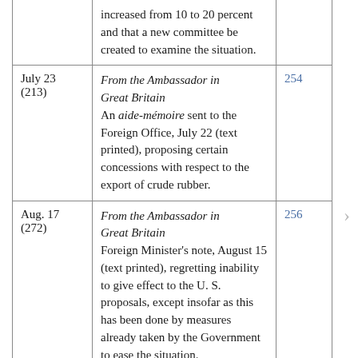| Date | Description | Page |
| --- | --- | --- |
|  | increased from 10 to 20 percent and that a new committee be created to examine the situation. |  |
| July 23 (213) | From the Ambassador in Great Britain
An aide-mémoire sent to the Foreign Office, July 22 (text printed), proposing certain concessions with respect to the export of crude rubber. | 254 |
| Aug. 17 (272) | From the Ambassador in Great Britain
Foreign Minister's note, August 15 (text printed), regretting inability to give effect to the U. S. proposals, except insofar as this has been done by measures already taken by the Government to ease the situation. | 256 |